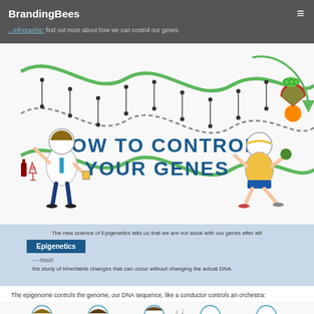BrandingBees
Meditation and Yoga can really help you with that, you can help our ... infographic: find out more about how we can control our genes.
[Figure (infographic): Infographic titled 'HOW TO CONTROL YOUR GENES' showing a DNA double helix in green with cartoon characters on either sides. Left character is a man in business attire holding a beer, surrounded by alcohol bottles, wine glass. Right character is an active person holding vegetables/fruits, surrounded by healthy foods like watermelon, orange, peas.]
The new science of Epigenetics tells us that we are not stuck with our genes after all!
Epigenetics
— noun
the study of inheritable changes that can occur without changing the actual DNA
The epigenome controls the genome, our DNA sequence, like a conductor controls an orchestra:
[Figure (illustration): Row of cartoon people illustrations representing orchestra members at the bottom of the page, partially cut off.]